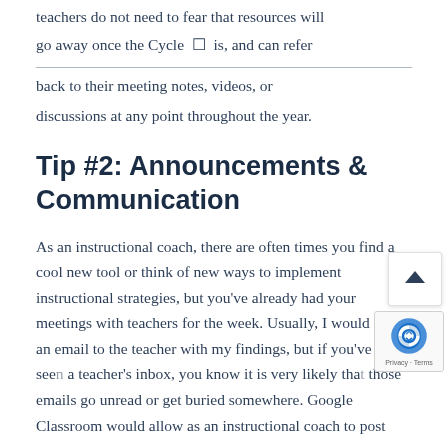teachers do not need to fear that resources will go away once the Cycle [] is, and can refer back to their meeting notes, videos, or discussions at any point throughout the year.
Tip #2: Announcements & Communication
As an instructional coach, there are often times you find a cool new tool or think of new ways to implement instructional strategies, but you've already had your meetings with teachers for the week. Usually, I would send an email to the teacher with my findings, but if you've ever seen a teacher's inbox, you know it is very likely that those emails go unread or get buried somewhere. Google Classroom would allow as an instructional coach to post...